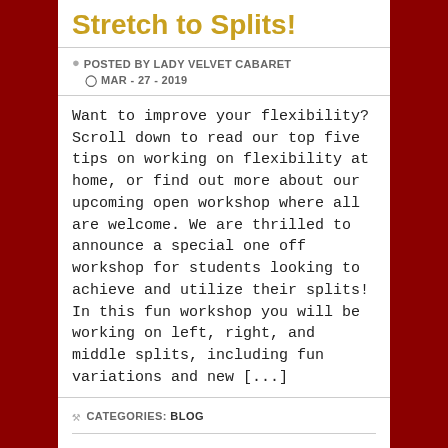Stretch to Splits!
POSTED BY LADY VELVET CABARET  MAR - 27 - 2019
Want to improve your flexibility? Scroll down to read our top five tips on working on flexibility at home, or find out more about our upcoming open workshop where all are welcome. We are thrilled to announce a special one off workshop for students looking to achieve and utilize their splits! In this fun workshop you will be working on left, right, and middle splits, including fun variations and new [...]
CATEGORIES: BLOG